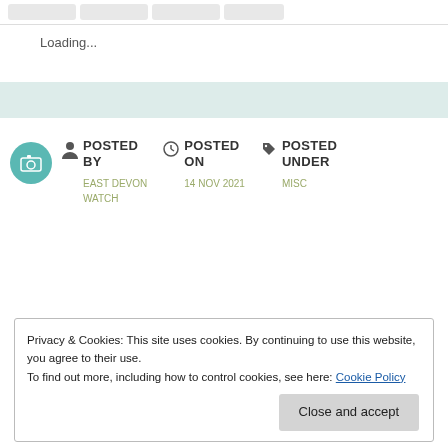Loading...
[Figure (other): Teal decorative band]
[Figure (other): Camera icon in teal circle]
POSTED BY
EAST DEVON WATCH
POSTED ON
14 NOV 2021
POSTED UNDER
MISC
Privacy & Cookies: This site uses cookies. By continuing to use this website, you agree to their use.
To find out more, including how to control cookies, see here: Cookie Policy
Close and accept